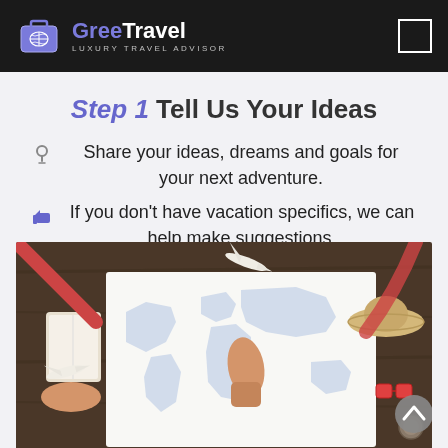GreeTravel — LUXURY TRAVEL ADVISOR
Step 1 Tell Us Your Ideas
Share your ideas, dreams and goals for your next adventure.
If you don't have vacation specifics, we can help make suggestions.
[Figure (photo): Overhead view of people planning a trip around a world map on a table, with travel accessories like a book, toy airplanes, a straw hat, sunglasses, and a compass.]